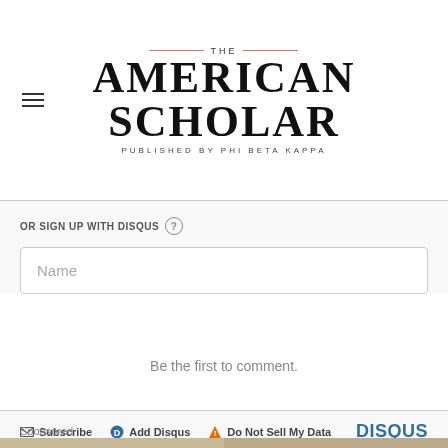[Figure (logo): The American Scholar logo — published by Phi Beta Kappa]
OR SIGN UP WITH DISQUS ?
Name
Be the first to comment.
Subscribe  Add Disqus  Do Not Sell My Data  DISQUS
Sponsored